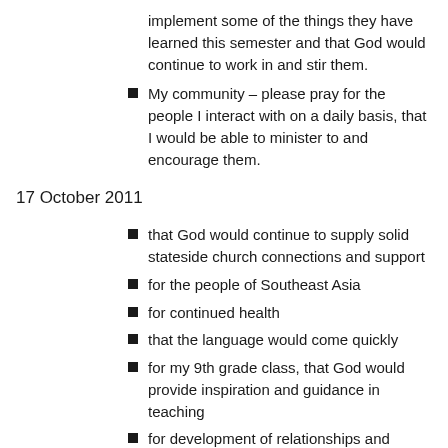implement some of the things they have learned this semester and that God would continue to work in and stir them.
My community – please pray for the people I interact with on a daily basis, that I would be able to minister to and encourage them.
17 October 2011
that God would continue to supply solid stateside church connections and support
for the people of Southeast Asia
for continued health
that the language would come quickly
for my 9th grade class, that God would provide inspiration and guidance in teaching
for development of relationships and community